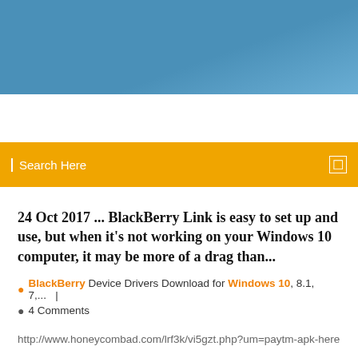[Figure (other): Blue gradient banner/header image at top of page]
[Figure (other): Orange search bar with 'Search Here' placeholder text and search icon]
24 Oct 2017 ... BlackBerry Link is easy to set up and use, but when it's not working on your Windows 10 computer, it may be more of a drag than...
BlackBerry Device Drivers Download for Windows 10, 8.1, 7,...   |   4 Comments
http://www.honeycombad.com/lrf3k/vi5gzt.php?um=paytm-apk-here